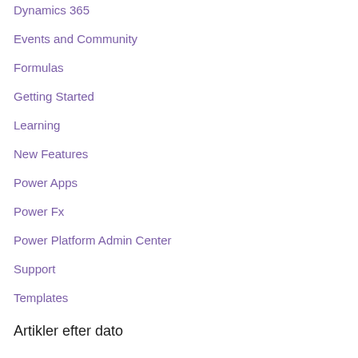Dynamics 365
Events and Community
Formulas
Getting Started
Learning
New Features
Power Apps
Power Fx
Power Platform Admin Center
Support
Templates
Artikler efter dato
august 2022